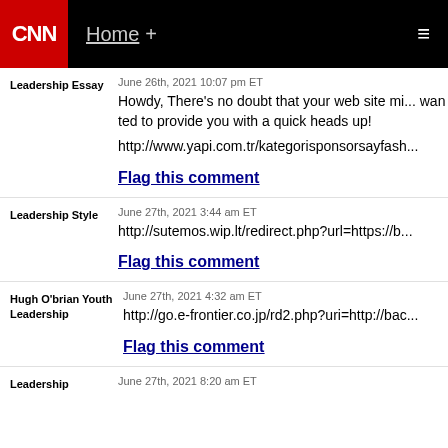CNN | Home +
Leadership Essay — June 26th, 2021 10:07 pm ET
Howdy, There's no doubt that your web site mi... wanted to provide you with a quick heads up!
http://www.yapi.com.tr/kategorisponsorsayfash...
Flag this comment
Leadership Style — June 27th, 2021 3:44 am ET
http://sutemos.wip.lt/redirect.php?url=https://b...
Flag this comment
Hugh O'brian Youth Leadership — June 27th, 2021 4:32 am ET
http://go.e-frontier.co.jp/rd2.php?uri=http://bac...
Flag this comment
Leadership — June 27th, 2021 8:20 am ET